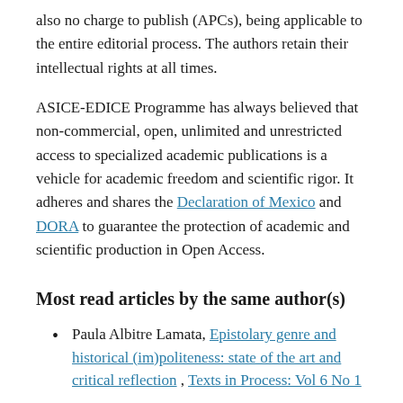also no charge to publish (APCs), being applicable to the entire editorial process. The authors retain their intellectual rights at all times.
ASICE-EDICE Programme has always believed that non-commercial, open, unlimited and unrestricted access to specialized academic publications is a vehicle for academic freedom and scientific rigor. It adheres and shares the Declaration of Mexico and DORA to guarantee the protection of academic and scientific production in Open Access.
Most read articles by the same author(s)
Paula Albitre Lamata, Epistolary genre and historical (im)politeness: state of the art and critical reflection , Texts in Process: Vol 6 No 1